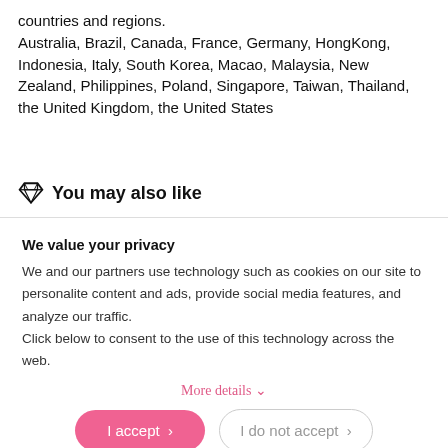countries and regions.
Australia, Brazil, Canada, France, Germany, HongKong, Indonesia, Italy, South Korea, Macao, Malaysia, New Zealand, Philippines, Poland, Singapore, Taiwan, Thailand, the United Kingdom, the United States
💎 You may also like
We value your privacy
We and our partners use technology such as cookies on our site to personalite content and ads, provide social media features, and analyze our traffic.
Click below to consent to the use of this technology across the web.
More details ˅
I accept >   I do not accept >